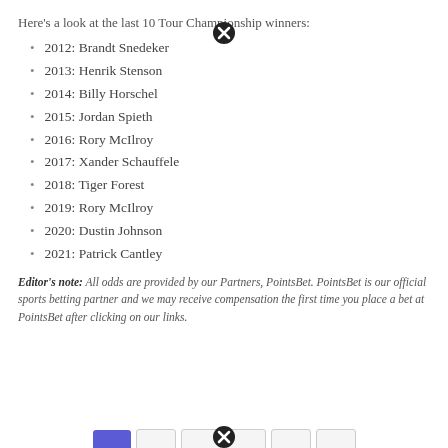Here's a look at the last 10 Tour Championship winners:
2012: Brandt Snedeker
2013: Henrik Stenson
2014: Billy Horschel
2015: Jordan Spieth
2016: Rory McIlroy
2017: Xander Schauffele
2018: Tiger Forest
2019: Rory McIlroy
2020: Dustin Johnson
2021: Patrick Cantley
Editor's note: All odds are provided by our Partners, PointsBet. PointsBet is our official sports betting partner and we may receive compensation the first time you place a bet at PointsBet after clicking on our links.